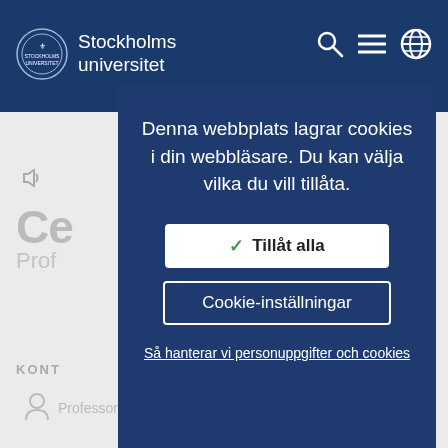[Figure (screenshot): Stockholm University website header with logo and navigation icons on dark blue background, with blurred page content beneath]
Denna webbplats lagrar cookies i din webbläsare. Du kan välja vilka du vill tillåta.
✓ Tillåt alla
Cookie-inställningar
Så hanterar vi personuppgifter och cookies